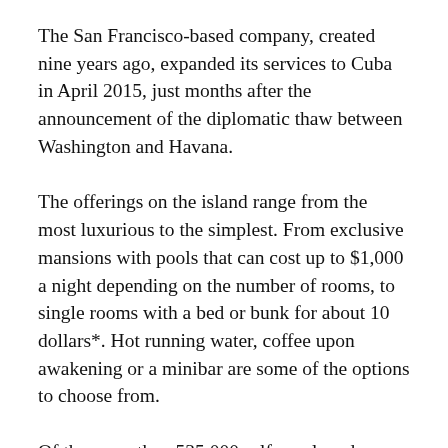The San Francisco-based company, created nine years ago, expanded its services to Cuba in April 2015, just months after the announcement of the diplomatic thaw between Washington and Havana.
The offerings on the island range from the most luxurious to the simplest. From exclusive mansions with pools that can cost up to $1,000 a night depending on the number of rooms, to single rooms with a bed or bunk for about 10 dollars*. Hot running water, coffee upon awakening or a minibar are some of the options to choose from.
Of the more than 535,000 self-employed